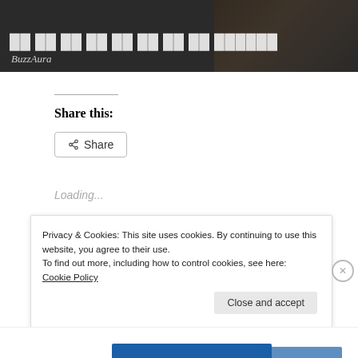[Figure (screenshot): Dark header image with white bold title text and BuzzAura italic subtitle, dark background with decorative scene]
Share this:
[Figure (other): Share button with share icon]
Loading...
Related
Privacy & Cookies: This site uses cookies. By continuing to use this website, you agree to their use.
To find out more, including how to control cookies, see here: Cookie Policy
Close and accept